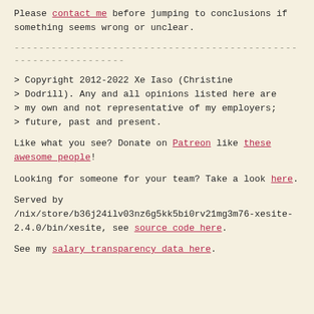Please contact me before jumping to conclusions if something seems wrong or unclear.
----------------------------------------------------------------
> Copyright 2012-2022 Xe Iaso (Christine
> Dodrill). Any and all opinions listed here are
> my own and not representative of my employers;
> future, past and present.
Like what you see? Donate on Patreon like these awesome people!
Looking for someone for your team? Take a look here.
Served by /nix/store/b36j24ilv03nz6g5kk5bi0rv21mg3m76-xesite-2.4.0/bin/xesite, see source code here.
See my salary transparency data here.